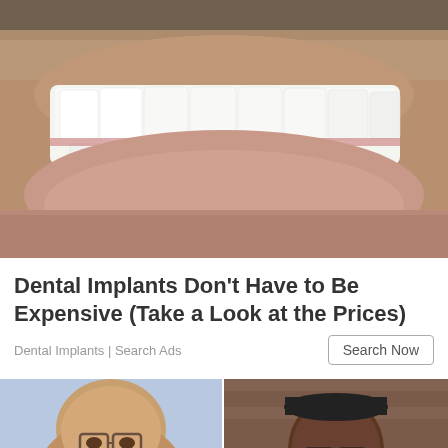[Figure (photo): Close-up photo of a man's smile showing white dental implants/teeth with stubble facial hair visible]
Dental Implants Don't Have to Be Expensive (Take a Look at the Prices)
Dental Implants | Search Ads
[Figure (photo): Two side-by-side photos of men's faces at bottom of page. Left photo shows a heavier-set man with glasses against a blue background. Right photo shows a man with glasses and a hat against a brick wall background, with a red scroll-to-top button overlaid.]